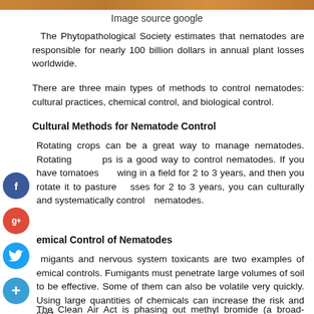[Figure (photo): Top strip of an image (photo) — partial view of what appears to be a soil/nematode related image]
Image source google
The Phytopathological Society estimates that nematodes are responsible for nearly 100 billion dollars in annual plant losses worldwide.
There are three main types of methods to control nematodes: cultural practices, chemical control, and biological control.
Cultural Methods for Nematode Control
Rotating crops can be a great way to manage nematodes. Rotating crops is a good way to control nematodes. If you have tomatoes growing in a field for 2 to 3 years, and then you rotate it to pasture grasses for 2 to 3 years, you can culturally and systematically control the nematodes.
Chemical Control of Nematodes
Fumigants and nervous system toxicants are two examples of chemical controls. Fumigants must penetrate large volumes of soil to be effective. Some of them can also be volatile very quickly. Using large quantities of chemicals can increase the risk and cost.
The Clean Air Act is phasing out methyl bromide (a broad-spectrum